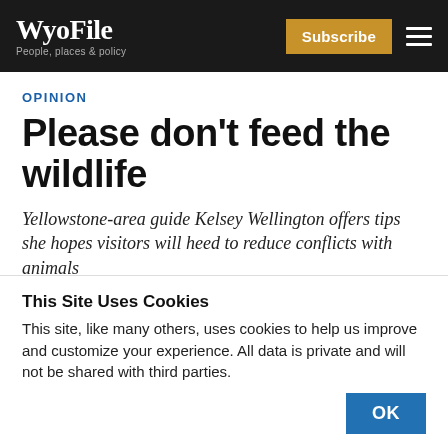WyoFile — People, places & policy
OPINION
Please don't feed the wildlife
Yellowstone-area guide Kelsey Wellington offers tips she hopes visitors will heed to reduce conflicts with animals
This Site Uses Cookies
This site, like many others, uses cookies to help us improve and customize your experience. All data is private and will not be shared with third parties.